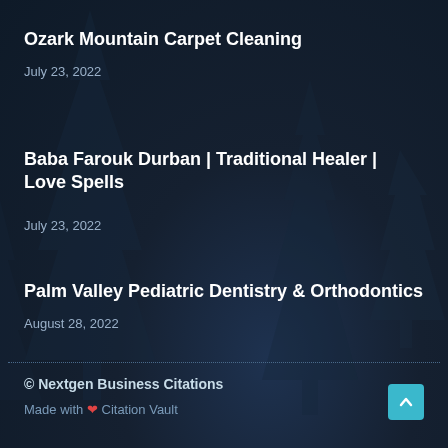Ozark Mountain Carpet Cleaning
July 23, 2022
Baba Farouk Durban | Traditional Healer | Love Spells
July 23, 2022
Palm Valley Pediatric Dentistry & Orthodontics
August 28, 2022
© Nextgen Business Citations
Made with ❤ Citation Vault